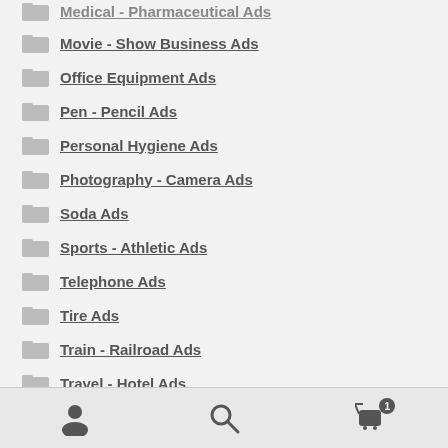Medical - Pharmaceutical Ads
Movie - Show Business Ads
Office Equipment Ads
Pen - Pencil Ads
Personal Hygiene Ads
Photography - Camera Ads
Soda Ads
Sports - Athletic Ads
Telephone Ads
Tire Ads
Train - Railroad Ads
Travel - Hotel Ads
User | Search | Cart (1)